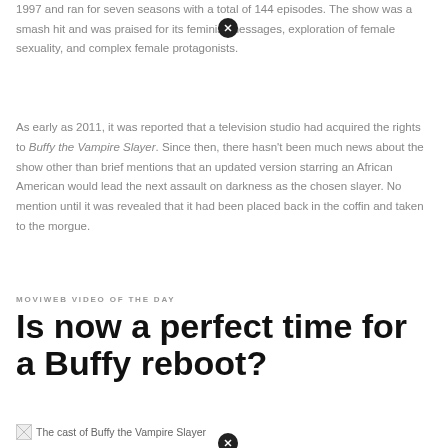1997 and ran for seven seasons with a total of 144 episodes. The show was a smash hit and was praised for its feminist messages, exploration of female sexuality, and complex female protagonists.
As early as 2011, it was reported that a television studio had acquired the rights to Buffy the Vampire Slayer. Since then, there hasn't been much news about the show other than brief mentions that an updated version starring an African American would lead the next assault on darkness as the chosen slayer. No mention until it was revealed that it had been placed back in the coffin and taken to the morgue.
MOVIWEB VIDEO OF THE DAY
Is now a perfect time for a Buffy reboot?
[Figure (photo): The cast of Buffy the Vampire Slayer — broken image placeholder with caption text]